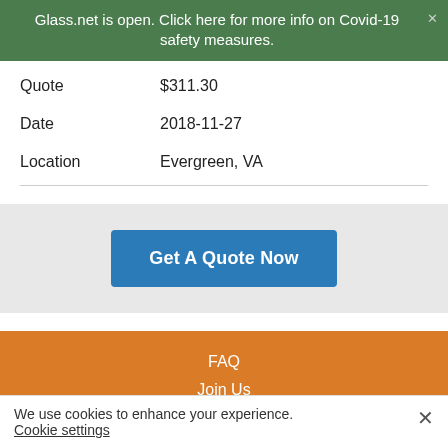Glass.net is open. Click here for more info on Covid-19 safety measures.
| Quote | $311.30 |
| Date | 2018-11-27 |
| Location | Evergreen, VA |
Get A Quote Now
FAQ
Join Us
We use cookies to enhance your experience.
Cookie settings